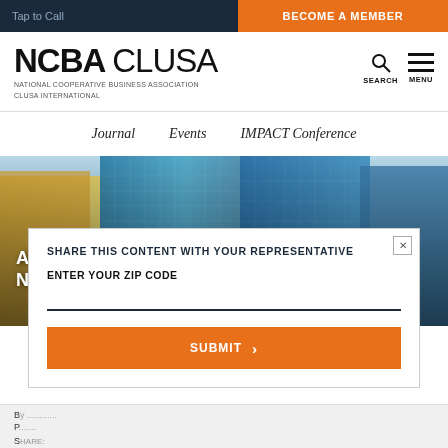Tap to Call | BECOME A MEMBER
[Figure (logo): NCBA CLUSA logo with National Cooperative Business Association CLUSA International tagline]
NATIONAL COOPERATIVE BUSINESS ASSOCIATION CLUSA INTERNATIONAL
Journal    Events    IMPACT Conference
[Figure (photo): Hero image of modern glass skyscrapers from below against blue sky]
Affordable Health Care CO-OPs are NOT Cooperatives
SHARE THIS CONTENT WITH YOUR REPRESENTATIVE
ENTER YOUR ZIP CODE
SUBMIT